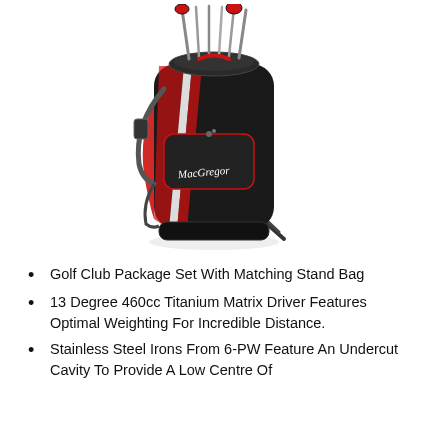[Figure (photo): A MacGregor branded black and red golf stand bag with golf clubs inserted, displayed on a white background. The bag has dual shoulder straps, multiple pockets, and a kickstand, with club head covers visible at the top.]
Golf Club Package Set With Matching Stand Bag
13 Degree 460cc Titanium Matrix Driver Features Optimal Weighting For Incredible Distance.
Stainless Steel Irons From 6-PW Feature An Undercut Cavity To Provide A Low Centre Of